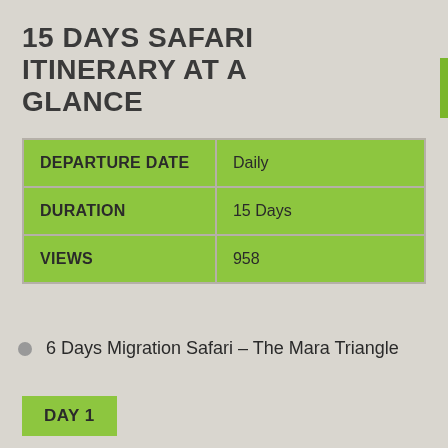15 DAYS SAFARI ITINERARY AT A GLANCE
| DEPARTURE DATE | Daily |
| --- | --- |
| DURATION | 15 Days |
| VIEWS | 958 |
6 Days Migration Safari – The Mara Triangle
DAY 1